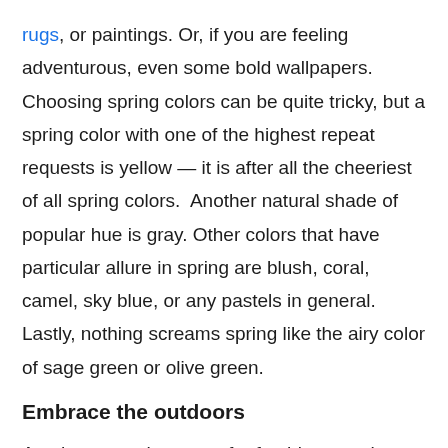rugs, or paintings. Or, if you are feeling adventurous, even some bold wallpapers. Choosing spring colors can be quite tricky, but a spring color with one of the highest repeat requests is yellow — it is after all the cheeriest of all spring colors.  Another natural shade of popular hue is gray. Other colors that have particular allure in spring are blush, coral, camel, sky blue, or any pastels in general. Lastly, nothing screams spring like the airy color of sage green or olive green.
Embrace the outdoors
Another sure-shot way of refreshing your home this spring is by embracing the outdoors and bringing in the